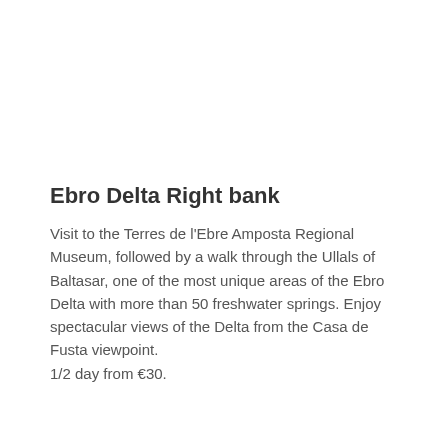Ebro Delta Right bank
Visit to the Terres de l'Ebre Amposta Regional Museum, followed by a walk through the Ullals of Baltasar, one of the most unique areas of the Ebro Delta with more than 50 freshwater springs. Enjoy spectacular views of the Delta from the Casa de Fusta viewpoint.
1/2 day from €30.